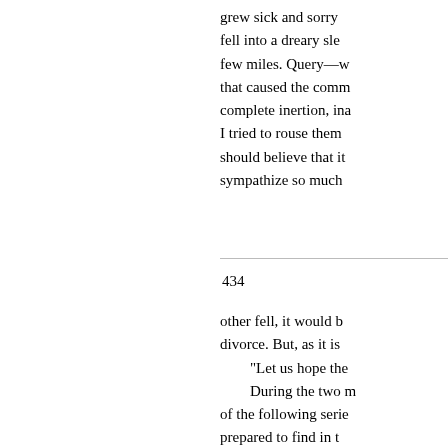grew sick and sorry fell into a dreary sle few miles. Query—w that caused the comm complete inertion, ina I tried to rouse them should believe that it sympathize so much
434
other fell, it would b divorce. But, as it is
“Let us hope the
During the two m of the following serie prepared to find in t